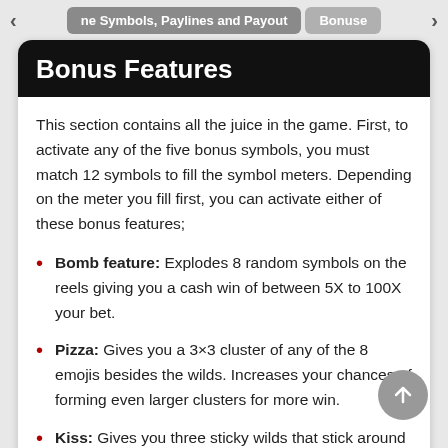ne Symbols, Paylines and Payout | Bonuse
Bonus Features
This section contains all the juice in the game. First, to activate any of the five bonus symbols, you must match 12 symbols to fill the symbol meters. Depending on the meter you fill first, you can activate either of these bonus features;
Bomb feature: Explodes 8 random symbols on the reels giving you a cash win of between 5X to 100X your bet.
Pizza: Gives you a 3×3 cluster of any of the 8 emojis besides the wilds. Increases your chances of forming even larger clusters for more win.
Kiss: Gives you three sticky wilds that stick around until they form winning clusters 3 times.